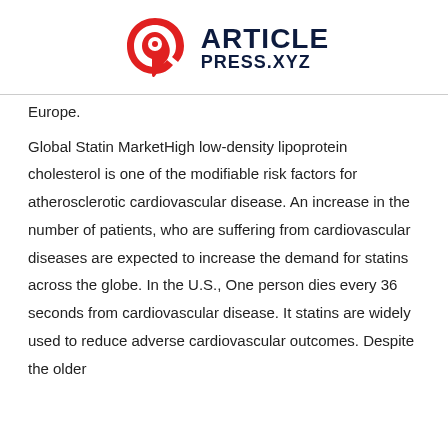[Figure (logo): ArticlePress.xyz logo with red circular icon and dark navy text]
Europe.
Global Statin MarketHigh low-density lipoprotein cholesterol is one of the modifiable risk factors for atherosclerotic cardiovascular disease. An increase in the number of patients, who are suffering from cardiovascular diseases are expected to increase the demand for statins across the globe. In the U.S., One person dies every 36 seconds from cardiovascular disease. It statins are widely used to reduce adverse cardiovascular outcomes. Despite the older